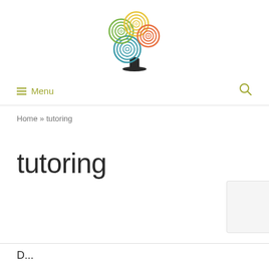[Figure (logo): IndieEd logo with colorful circular tree made of overlapping rings in yellow, green, teal, and orange colors above a dark trunk, with text 'IndieEd' where 'Indie' is dark and 'Ed' is olive/yellow-green]
≡ Menu  🔍
Home » tutoring
tutoring
D...